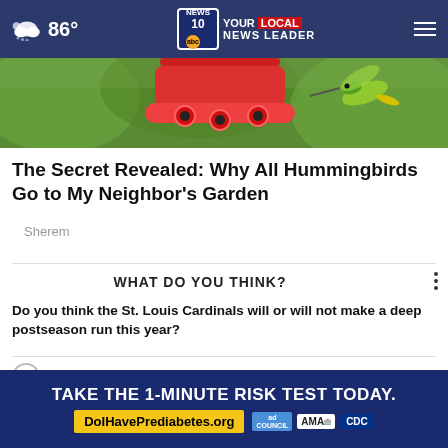NEWS 10 abc YOUR LOCAL NEWS LEADER | 86°
[Figure (photo): Hummingbird near a red feeder with green background]
The Secret Revealed: Why All Hummingbirds Go to My Neighbor's Garden
Sherem
WHAT DO YOU THINK?
Do you think the St. Louis Cardinals will or will not make a deep postseason run this year?
Definitely will
Probably will
Probably will not
Definitely will not
[Figure (infographic): Advertisement banner: TAKE THE 1-MINUTE RISK TEST TODAY. DolHavePrediabetes.org with ad, AMA, CDC logos]